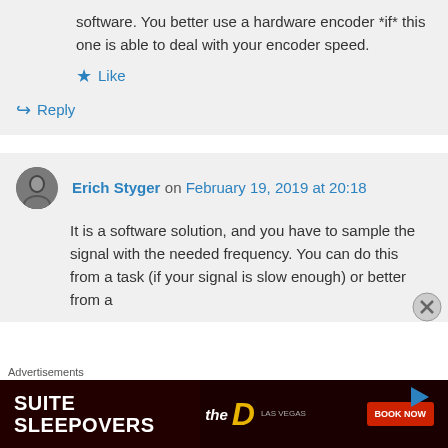software. You better use a hardware encoder *if* this one is able to deal with your encoder speed.
Like
Reply
Erich Styger on February 19, 2019 at 20:18
It is a software solution, and you have to sample the signal with the needed frequency. You can do this from a task (if your signal is slow enough) or better from a
Advertisements
[Figure (photo): Advertisement banner for Suite Sleepovers at The D Las Vegas with Book Now button]